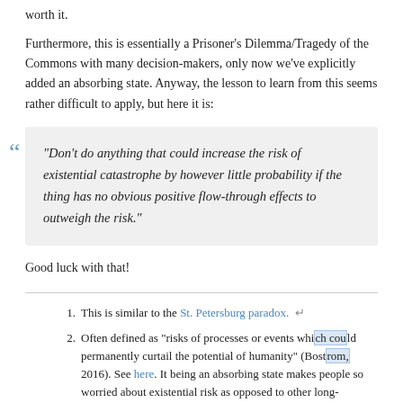worth it.
Furthermore, this is essentially a Prisoner’s Dilemma/Tragedy of the Commons with many decision-makers, only now we’ve explicitly added an absorbing state. Anyway, the lesson to learn from this seems rather difficult to apply, but here it is:
“Don’t do anything that could increase the risk of existential catastrophe by however little probability if the thing has no obvious positive flow-through effects to outweigh the risk.”
Good luck with that!
1. This is similar to the St. Petersburg paradox.
2. Often defined as “risks of processes or events which could permanently curtail the potential of humanity” (Bostrom, 2016). See here. It being an absorbing state makes people so worried about existential risk as opposed to other long-